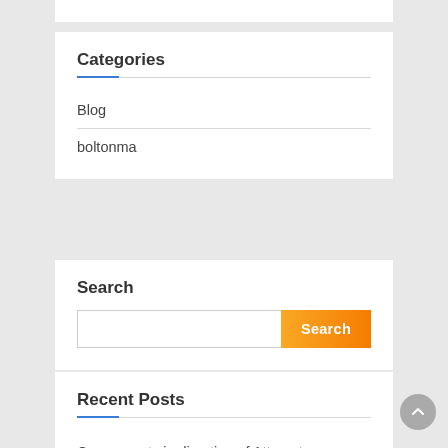Categories
Blog
boltonma
Search
[Figure (other): Search input field with orange gradient Search button]
Recent Posts
Components in direction of Attempt